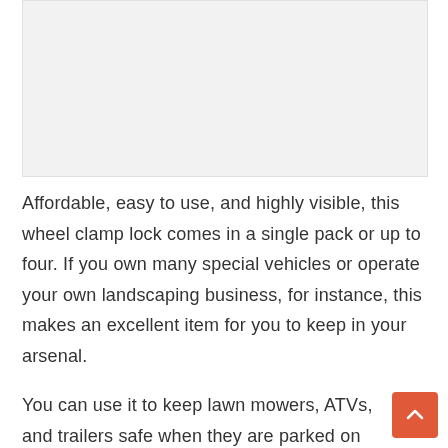[Figure (photo): Image placeholder area showing a product photo (wheel clamp lock)]
Affordable, easy to use, and highly visible, this wheel clamp lock comes in a single pack or up to four. If you own many special vehicles or operate your own landscaping business, for instance, this makes an excellent item for you to keep in your arsenal.
You can use it to keep lawn mowers, ATVs, and trailers safe when they are parked on the jobsite or parked